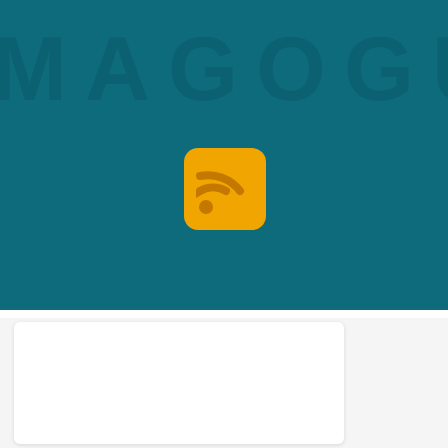[Figure (screenshot): Teal/dark cyan website header background with large watermark letters 'MAGOGU' and an orange RSS feed icon in the center]
Printing Name Badges For
About Me